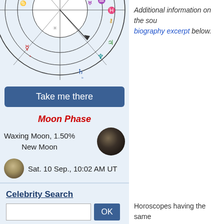[Figure (illustration): Partial astrological birth chart wheel with zodiac symbols, planet glyphs in various colors (red, blue, teal, purple) on a light blue background, partially cropped at top.]
Take me there
Moon Phase
Waxing Moon, 1.50%
New Moon
Sat. 10 Sep., 10:02 AM UT
Celebrity Search
Astrology Calculations
Personalized Horoscope
Your Daily Horoscope
Personality
Horoscope and Ascendant
Additional information on the sou biography excerpt below.
Horoscopes having the same